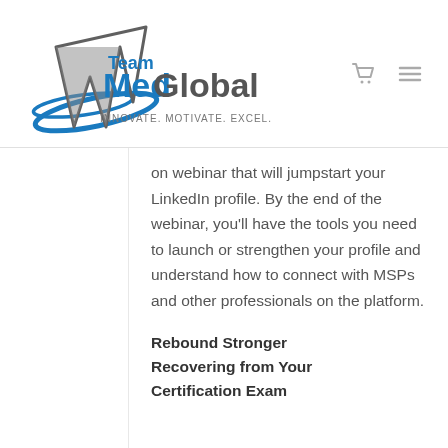Team MedGlobal — INNOVATE. MOTIVATE. EXCEL.
on webinar that will jumpstart your LinkedIn profile. By the end of the webinar, you'll have the tools you need to launch or strengthen your profile and understand how to connect with MSPs and other professionals on the platform.
Rebound Stronger Recovering from Your Certification Exam